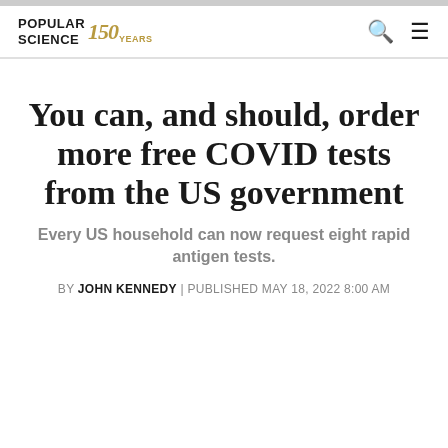POPULAR SCIENCE 150 YEARS
You can, and should, order more free COVID tests from the US government
Every US household can now request eight rapid antigen tests.
BY JOHN KENNEDY | PUBLISHED MAY 18, 2022 8:00 AM